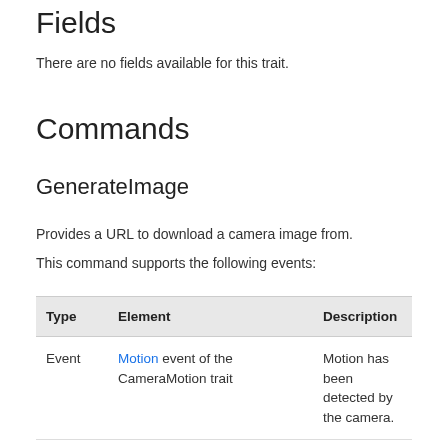Fields
There are no fields available for this trait.
Commands
GenerateImage
Provides a URL to download a camera image from.
This command supports the following events:
| Type | Element | Description |
| --- | --- | --- |
| Event | Motion event of the CameraMotion trait | Motion has been detected by the camera. |
| Event | Person event of the CameraPerson trait | A person has been detected by the camera. |